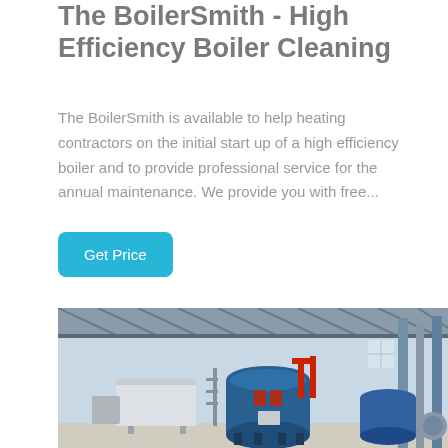The BoilerSmith - High Efficiency Boiler Cleaning
The BoilerSmith is available to help heating contractors on the initial start up of a high efficiency boiler and to provide professional service for the annual maintenance. We provide you with free...
[Figure (photo): Industrial boiler room interior with large blue cylindrical boilers, red piping, steel structure roof, and industrial equipment on a concrete floor.]